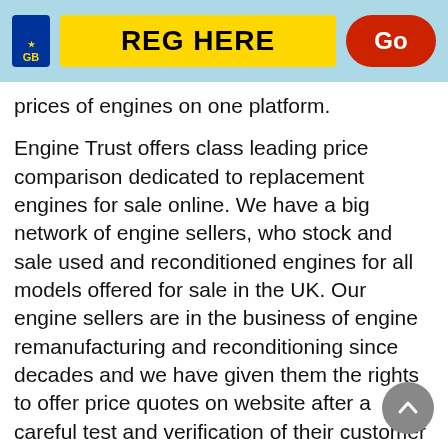[Figure (infographic): UK vehicle registration plate input bar with yellow plate area showing 'REG HERE' text, GB badge on left, and red Go button on right, all on a light blue background]
prices of engines on one platform.
Engine Trust offers class leading price comparison dedicated to replacement engines for sale online. We have a big network of engine sellers, who stock and sale used and reconditioned engines for all models offered for sale in the UK. Our engine sellers are in the business of engine remanufacturing and reconditioning since decades and we have given them the rights to offer price quotes on website after a careful test and verification of their customer services and business operations.
Replacement Engines for Sale in Sur…
Our network of engine sellers in Surrey, has a